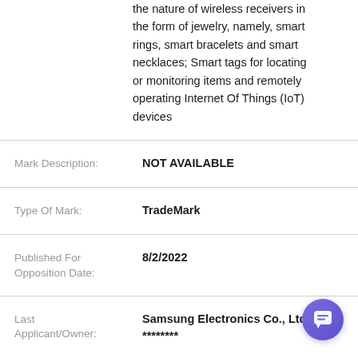the nature of wireless receivers in the form of jewelry, namely, smart rings, smart bracelets and smart necklaces; Smart tags for locating or monitoring items and remotely operating Internet Of Things (IoT) devices
| Mark Description: | NOT AVAILABLE |
| Type Of Mark: | TradeMark |
| Published For Opposition Date: | 8/2/2022 |
| Last Applicant/Owner: | Samsung Electronics Co., Ltd. ******** |